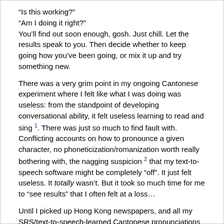“Is this working?”
“Am I doing it right?”
You’ll find out soon enough, gosh. Just chill. Let the results speak to you. Then decide whether to keep going how you’ve been going, or mix it up and try something new.
There was a very grim point in my ongoing Cantonese experiment where I felt like what I was doing was useless: from the standpoint of developing conversational ability, it felt useless learning to read and sing [1]. There was just so much to find fault with. Conflicting accounts on how to pronounce a given character, no phoneticization/romanization worth really bothering with, the nagging suspicion [2] that my text-to-speech software might be completely “off”. It just felt useless. It totally wasn’t. But it took so much time for me to “see results” that I often felt at a loss…
Until I picked up Hong Kong newspapers, and all my SRS/text-to-speech-learned Cantonese pronunciations came flowing out. I could just…read. And I didn’t even really know how, because all the SRSing I’d done had often felt so useless and removed from reality (especially pre-MCD). They say the “testing effect” makes you feel useless despite making you more competent, sort of a Dunning-Kruger effect in miniature. They speak the truth.
Despite (or because) of all my movie- and cartoon-watching, I saw and heard so few examples of standard written Chinese being read aloud with